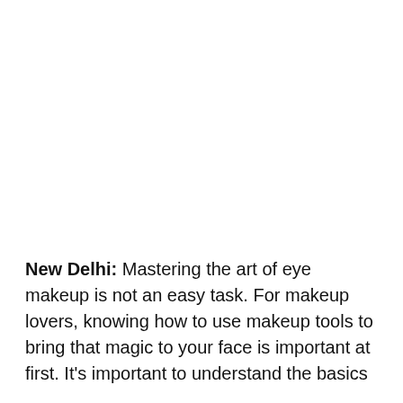New Delhi:  Mastering the art of eye makeup is not an easy task. For makeup lovers, knowing how to use makeup tools to bring that magic to your face is important at first. It's important to understand the basics